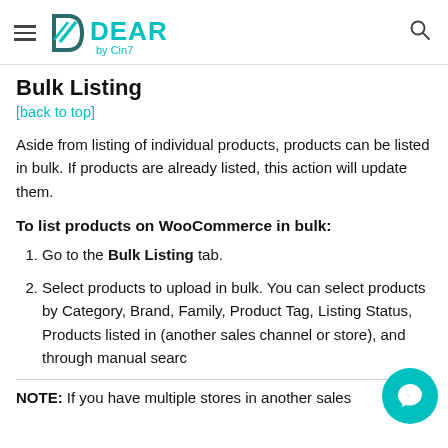DEAR by Cin7
Bulk Listing
[back to top]
Aside from listing of individual products, products can be listed in bulk. If products are already listed, this action will update them.
To list products on WooCommerce in bulk:
Go to the Bulk Listing tab.
Select products to upload in bulk. You can select products by Category, Brand, Family, Product Tag, Listing Status, Products listed in (another sales channel or store), and through manual search.
NOTE: If you have multiple stores in another sales